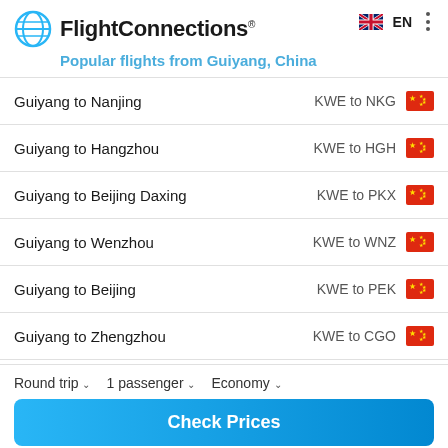FlightConnections® EN
Popular flights from Guiyang, China
Guiyang to Nanjing — KWE to NKG
Guiyang to Hangzhou — KWE to HGH
Guiyang to Beijing Daxing — KWE to PKX
Guiyang to Wenzhou — KWE to WNZ
Guiyang to Beijing — KWE to PEK
Guiyang to Zhengzhou — KWE to CGO
Round trip   1 passenger   Economy
Check Prices